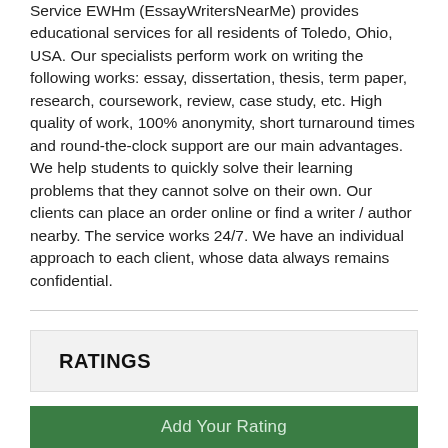Service EWHm (EssayWritersNearMe) provides educational services for all residents of Toledo, Ohio, USA. Our specialists perform work on writing the following works: essay, dissertation, thesis, term paper, research, coursework, review, case study, etc. High quality of work, 100% anonymity, short turnaround times and round-the-clock support are our main advantages. We help students to quickly solve their learning problems that they cannot solve on their own. Our clients can place an order online or find a writer / author nearby. The service works 24/7. We have an individual approach to each client, whose data always remains confidential.
RATINGS
Add Your Rating